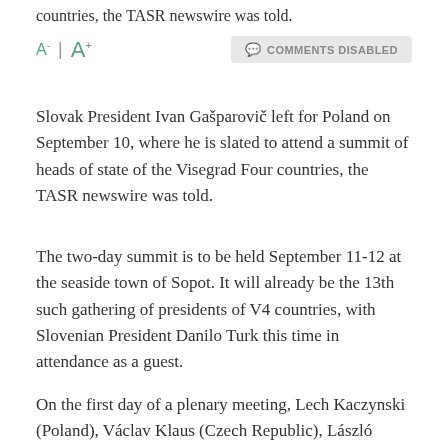countries, the TASR newswire was told.
A- | A+   COMMENTS DISABLED
Slovak President Ivan Gašparovič left for Poland on September 10, where he is slated to attend a summit of heads of state of the Visegrad Four countries, the TASR newswire was told.
The two-day summit is to be held September 11-12 at the seaside town of Sopot. It will already be the 13th such gathering of presidents of V4 countries, with Slovenian President Danilo Turk this time in attendance as a guest.
On the first day of a plenary meeting, Lech Kaczynski (Poland), Václav Klaus (Czech Republic), László